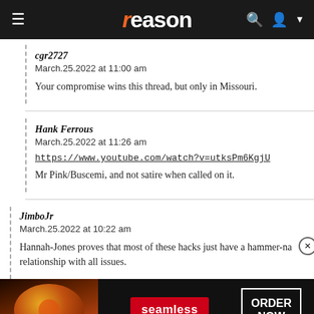reason
cgr2727
March.25.2022 at 11:00 am

Your compromise wins this thread, but only in Missouri.
Hank Ferrous
March.25.2022 at 11:26 am

https://www.youtube.com/watch?v=utksPm6KgjU

Mr Pink/Buscemi, and not satire when called on it.
JimboJr
March.25.2022 at 10:22 am

Hannah-Jones proves that most of these hacks just have a hammer-nail relationship with all issues.
[Figure (screenshot): Seamless food delivery advertisement banner with pizza image, red Seamless badge, and ORDER NOW button]